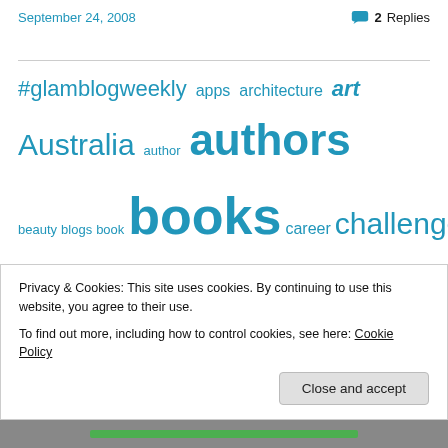September 24, 2008   2 Replies
[Figure (infographic): Tag cloud with words related to library/blogging topics in varying sizes and shades of blue, including: #glamblogweekly, apps, architecture, art, Australia, author, authors, beauty, blogs, book, books, career, challenge, change, collections, communication, community, conference, conversation, creativity, cycling, design, discovery, ebooks, enjoyment, events, family, family history, fiction, future, Goodreads, healing, history, ideas, information, inspiration, internet, learning, librarians, libraries]
Privacy & Cookies: This site uses cookies. By continuing to use this website, you agree to their use.
To find out more, including how to control cookies, see here: Cookie Policy
Close and accept